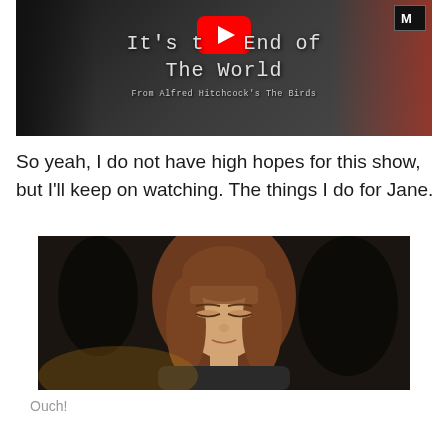[Figure (screenshot): YouTube video thumbnail showing a scene from Alfred Hitchcock's The Birds, with text overlay reading 'It's the End of The World' and subtitle 'From Alfred Hitchcock's The Birds'. A red YouTube play button is visible in the center, and an M logo is in the top right corner.]
So yeah, I do not have high hopes for this show, but I'll keep on watching. The things I do for Jane.
[Figure (photo): A young girl (resembling a young Emma Watson as Hermione Granger) with long brown hair, eyes partially closed, wearing a dark tie, appearing to be in a crowd scene.]
Ouch!